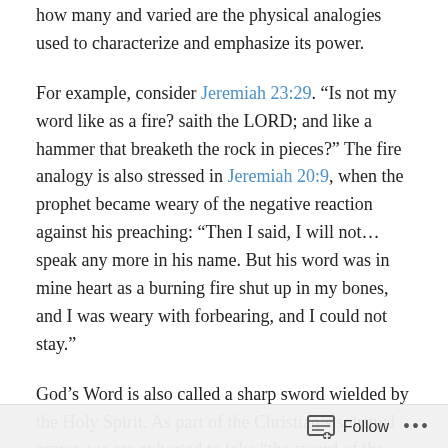how many and varied are the physical analogies used to characterize and emphasize its power.
For example, consider Jeremiah 23:29. “Is not my word like as a fire? saith the LORD; and like a hammer that breaketh the rock in pieces?” The fire analogy is also stressed in Jeremiah 20:9, when the prophet became weary of the negative reaction against his preaching: “Then I said, I will not…speak any more in his name. But his word was in mine heart as a burning fire shut up in my bones, and I was weary with forbearing, and I could not stay.”
God’s Word is also called a sharp sword wielded by the Holy Spirit. As part of the Christian’s spiritual armor, we are exhorted to take “the sword of the Spirit, which is the
Follow